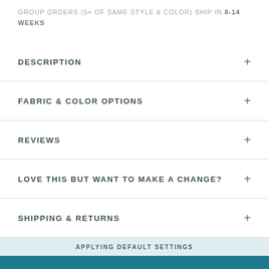GROUP ORDERS (5+ OF SAME STYLE & COLOR) SHIP IN 8-14 WEEKS
DESCRIPTION
FABRIC & COLOR OPTIONS
REVIEWS
LOVE THIS BUT WANT TO MAKE A CHANGE?
SHIPPING & RETURNS
APPLYING DEFAULT SETTINGS